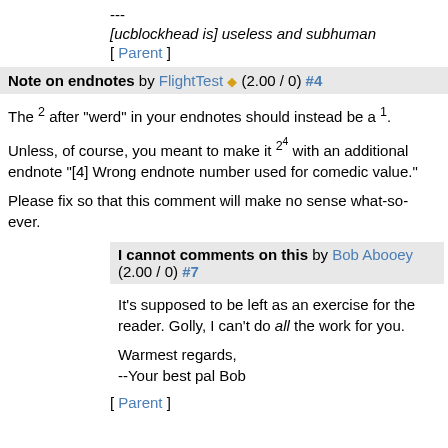---
[ucblockhead is] useless and subhuman
[ Parent ]
Note on endnotes by FlightTest ◈ (2.00 / 0) #4
The 2 after "werd" in your endnotes should instead be a 1.
Unless, of course, you meant to make it 2^4 with an additional endnote "[4] Wrong endnote number used for comedic value."
Please fix so that this comment will make no sense what-so-ever.
I cannot comments on this by Bob Abooey (2.00 / 0) #7
It's supposed to be left as an exercise for the reader. Golly, I can't do all the work for you.

Warmest regards,
--Your best pal Bob
[ Parent ]